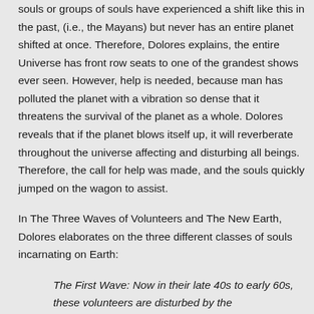souls or groups of souls have experienced a shift like this in the past, (i.e., the Mayans) but never has an entire planet shifted at once. Therefore, Dolores explains, the entire Universe has front row seats to one of the grandest shows ever seen. However, help is needed, because man has polluted the planet with a vibration so dense that it threatens the survival of the planet as a whole. Dolores reveals that if the planet blows itself up, it will reverberate throughout the universe affecting and disturbing all beings. Therefore, the call for help was made, and the souls quickly jumped on the wagon to assist.
In The Three Waves of Volunteers and The New Earth, Dolores elaborates on the three different classes of souls incarnating on Earth:
The First Wave: Now in their late 40s to early 60s, these volunteers are disturbed by the